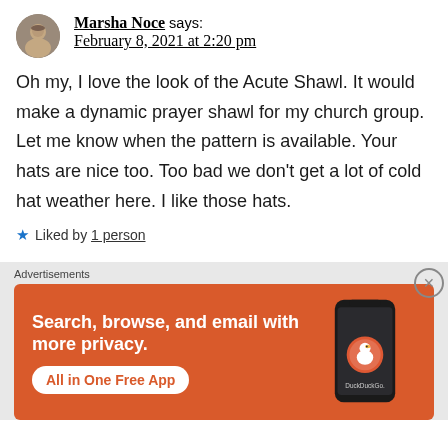Marsha Noce says: February 8, 2021 at 2:20 pm
Oh my, I love the look of the Acute Shawl. It would make a dynamic prayer shawl for my church group. Let me know when the pattern is available. Your hats are nice too. Too bad we don’t get a lot of cold hat weather here. I like those hats.
★ Liked by 1 person
Advertisements
[Figure (infographic): DuckDuckGo advertisement banner on orange background. Text: 'Search, browse, and email with more privacy. All in One Free App'. Shows a smartphone with DuckDuckGo logo.]